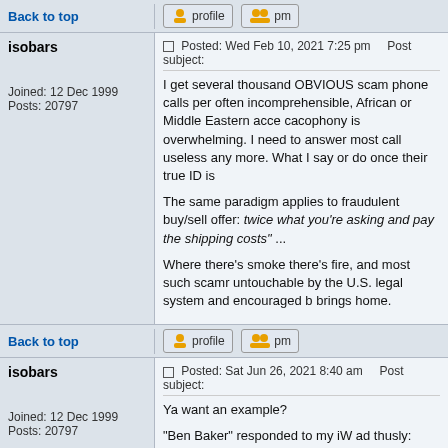Back to top
profile   pm
isobars
Joined: 12 Dec 1999
Posts: 20797
Posted: Wed Feb 10, 2021 7:25 pm    Post subject:
I get several thousand OBVIOUS scam phone calls per often incomprehensible, African or Middle Eastern acce cacophony is overwhelming. I need to answer most call useless any more. What I say or do once their true ID is

The same paradigm applies to fraudulent buy/sell offer: twice what you're asking and pay the shipping costs" ...

Where there's smoke there's fire, and most such scamr untouchable by the U.S. legal system and encouraged b brings home.
Back to top
profile   pm
isobars
Joined: 12 Dec 1999
Posts: 20797
Posted: Sat Jun 26, 2021 8:40 am    Post subject:
Ya want an example?

"Ben Baker" responded to my iW ad thusly:
"Please send picture and latest price".

RED FLAG: My ad has THREE pictures and the ad clea and added "Sorry, dude ◆ I smell a scam. I◆m guessi How about we meet face to face and swap the goods fo

From: Ben Baker <bbenbaker88@gmail.com>
Subject: Your Details Needed!!! [now he's demanding a

"Hello,
Thanks for the answer. I want you to understand my c